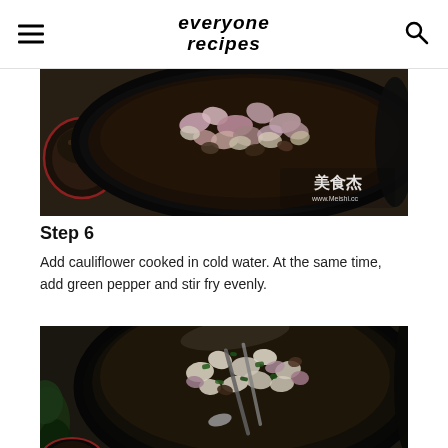everyone recipes
[Figure (photo): Top-down view of a dark wok/pan with chopped onions and other vegetables being stir-fried, with a small bowl visible on the left and a watermark reading 美食杰 www.Meishi.cc in the bottom right.]
Step 6
Add cauliflower cooked in cold water. At the same time, add green pepper and stir fry evenly.
[Figure (photo): Top-down view of a dark wok/pan containing cauliflower, green peppers, onions and other mixed vegetables being stir-fried with tongs/chopsticks, with green leafy vegetables visible on the left side.]